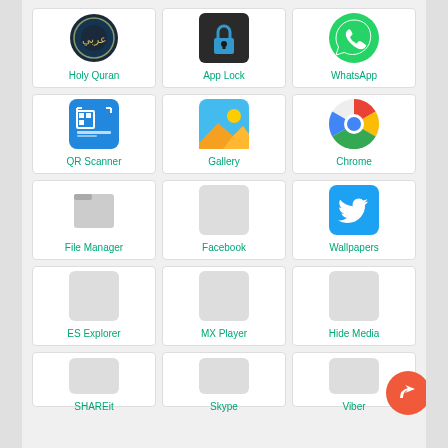[Figure (screenshot): Android app drawer screenshot showing a 3-column grid of app icons: Holy Quran, App Lock, WhatsApp, QR Scanner, Gallery, Chrome, File Manager, Facebook, Wallpapers, ES Explorer, MX Player, Hide Media, SHAREit, Skype, Viber. There is a share/forward FAB button at the bottom right.]